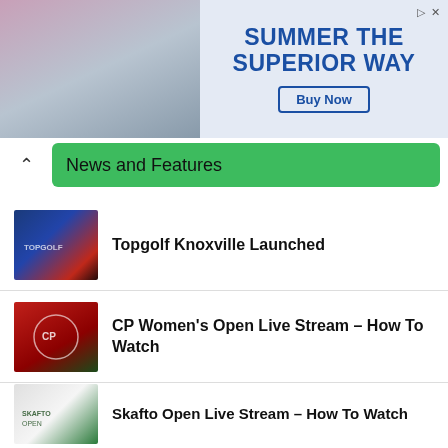[Figure (photo): Advertisement banner: photo of people at a summer event on the left, text 'SUMMER THE SUPERIOR WAY' with Buy Now button on the right]
News and Features
[Figure (photo): Thumbnail image of Topgolf Knoxville building exterior]
Topgolf Knoxville Launched
[Figure (photo): Thumbnail image of CP Women's Open red flag]
CP Women's Open Live Stream – How To Watch
[Figure (photo): Thumbnail image of Skafto Open white flag]
Skafto Open Live Stream – How To Watch
[Figure (photo): Thumbnail image of Tour Championship white flag]
Tour Championship Live Stream – How to Watch